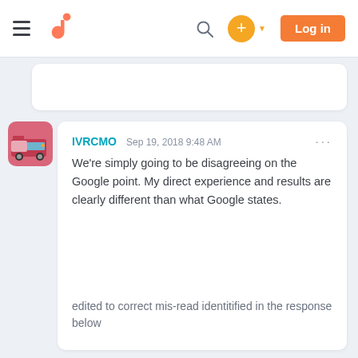[Figure (screenshot): HubSpot navigation bar with hamburger menu, HubSpot logo, search icon, orange plus button with dropdown arrow, and orange Log in button]
IVRCMO
Sep 19, 2018 9:48 AM
We're simply going to be disagreeing on the Google point. My direct experience and results are clearly different than what Google states.
edited to correct mis-read identitified in the response below